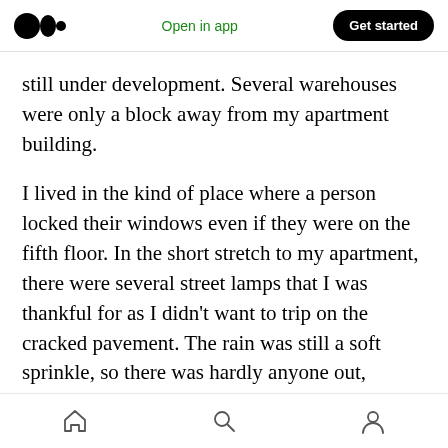Medium logo | Open in app | Get started
still under development. Several warehouses were only a block away from my apartment building.
I lived in the kind of place where a person locked their windows even if they were on the fifth floor. In the short stretch to my apartment, there were several street lamps that I was thankful for as I didn't want to trip on the cracked pavement. The rain was still a soft sprinkle, so there was hardly anyone out, making it even more ominous as the moon was still high in the sky. Its luminous glory
Home | Search | Profile